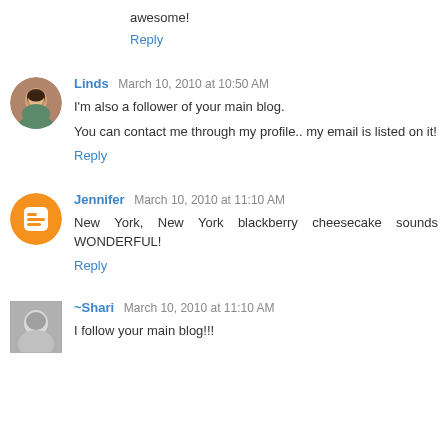awesome!
Reply
Linds March 10, 2010 at 10:50 AM
I'm also a follower of your main blog.
You can contact me through my profile.. my email is listed on it!
Reply
Jennifer March 10, 2010 at 11:10 AM
New York, New York blackberry cheesecake sounds WONDERFUL!
Reply
~Shari March 10, 2010 at 11:10 AM
I follow your main blog!!!